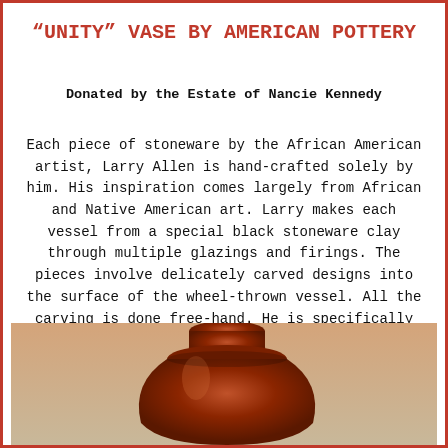"UNITY" VASE BY AMERICAN POTTERY
Donated by the Estate of Nancie Kennedy
Each piece of stoneware by the African American artist, Larry Allen is hand-crafted solely by him. His inspiration comes largely from African and Native American art. Larry makes each vessel from a special black stoneware clay through multiple glazings and firings. The pieces involve delicately carved designs into the surface of the wheel-thrown vessel. All the carving is done free-hand. He is specifically known for the “UNITY” motif (people holding hands) which was inspired by the tragedy of 9-11. Approx. 4″ h x 6″ w.
[Figure (photo): Photo of a dark reddish-brown ceramic vase, partially visible at the bottom of the page]